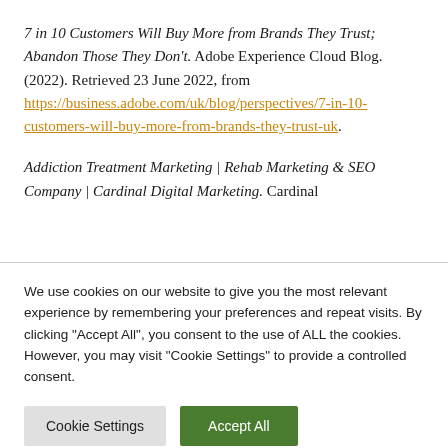7 in 10 Customers Will Buy More from Brands They Trust; Abandon Those They Don't. Adobe Experience Cloud Blog. (2022). Retrieved 23 June 2022, from https://business.adobe.com/uk/blog/perspectives/7-in-10-customers-will-buy-more-from-brands-they-trust-uk.
Addiction Treatment Marketing | Rehab Marketing & SEO Company | Cardinal Digital Marketing. Cardinal
We use cookies on our website to give you the most relevant experience by remembering your preferences and repeat visits. By clicking "Accept All", you consent to the use of ALL the cookies. However, you may visit "Cookie Settings" to provide a controlled consent.